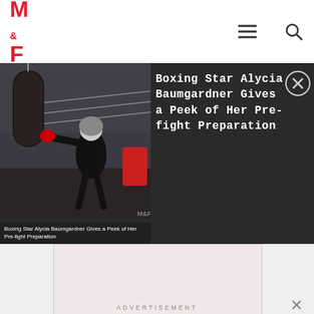M&F
Boxing Star Alycia Baumgardner Gives a Peek of Her Pre-fight Preparation
[Figure (photo): Photo of boxing training scene with fighter punching a bag in a gym, with caption: Boxing Star Alycia Baumgardner Gives a Peek of Her Pre-fight Preparation]
[Figure (infographic): Advertisement panel with text: It's time to save online conversation.]
It's time to save online conversation.
ADVERTISEMENT